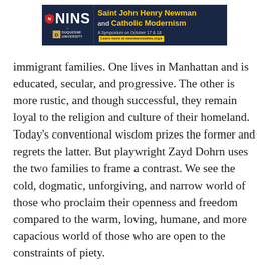[Figure (other): NINS / Duquesne University banner advertisement for 'Saint John Henry Newman and Catholic Modernism' symposium on October 17 & 18, with link to newmanstudies.org]
immigrant families. One lives in Manhattan and is educated, secular, and progressive. The other is more rustic, and though successful, they remain loyal to the religion and culture of their homeland. Today's conventional wisdom prizes the former and regrets the latter. But playwright Zayd Dohrn uses the two families to frame a contrast. We see the cold, dogmatic, unforgiving, and narrow world of those who proclaim their openness and freedom compared to the warm, loving, humane, and more capacious world of those who are open to the constraints of piety.
One can go to the Whitney Museum and see tedious examples of the culture of our age. The i…